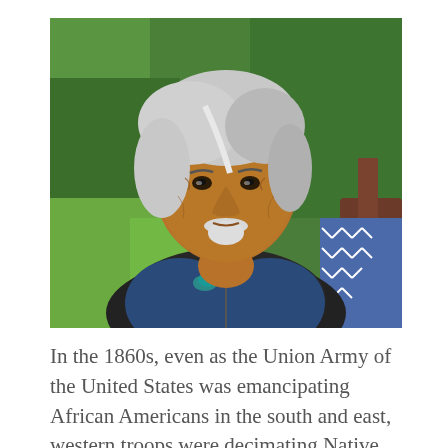[Figure (photo): An elderly Native American man with white hair and a white goatee, wearing a dark fleece vest over a blue shirt with turquoise jewelry. He is seated outdoors with green foliage in the background and a wooden chair visible to the right. He looks calmly at the camera with a slight smile.]
In the 1860s, even as the Union Army of the United States was emancipating African Americans in the south and east, western troops were decimating Native American life and